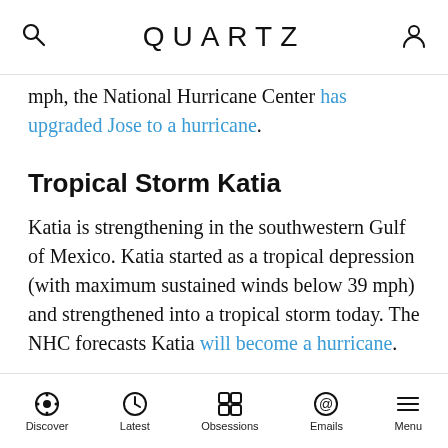QUARTZ
mph, the National Hurricane Center has upgraded Jose to a hurricane.
Tropical Storm Katia
Katia is strengthening in the southwestern Gulf of Mexico. Katia started as a tropical depression (with maximum sustained winds below 39 mph) and strengthened into a tropical storm today. The NHC forecasts Katia will become a hurricane.
ADVERTISEMENT
[Figure (other): Quartz Africa advertisement banner with illustrated graphic and text 'Introducing Quartz']
Discover  Latest  Obsessions  Emails  Menu